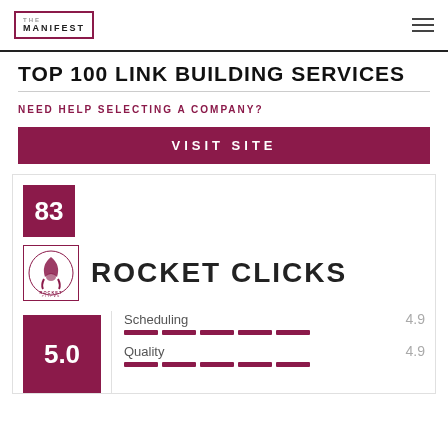THE MANIFEST
TOP 100 LINK BUILDING SERVICES
NEED HELP SELECTING A COMPANY?
VISIT SITE
83
[Figure (logo): Rocket Clicks company logo with rocket graphic]
ROCKET CLICKS
5.0
Scheduling 4.9
Quality 4.9